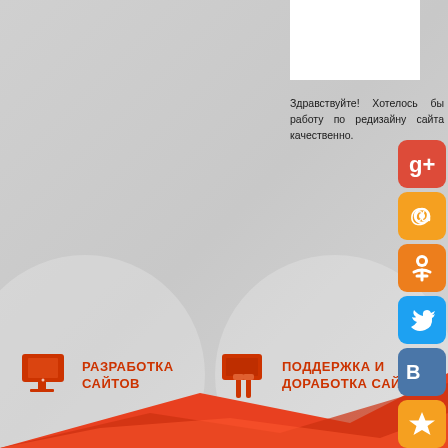[Figure (other): White rectangle box in upper right area]
Здравствуйте! Хотелось бы работу по редизайну сайта качественно.
[Figure (infographic): Two circular background shapes with service icons and labels. Left: monitor icon with text РАЗРАБОТКА САЙТОВ. Right: tools/keys icon with text ПОДДЕРЖКА И ДОРАБОТКА САЙТ]
[Figure (infographic): Red geometric polygon decoration at the bottom of the page]
[Figure (infographic): Vertical column of social media icon buttons on the right: Google+, email (@), Odnoklassniki, Twitter, VKontakte, Star/favorites]